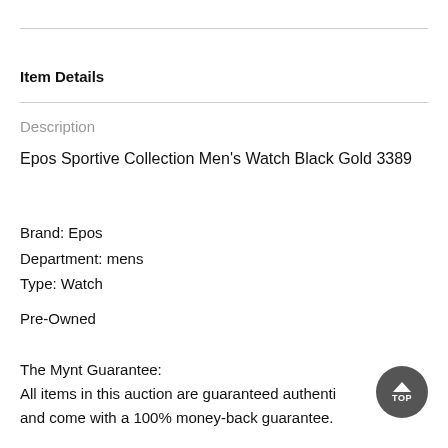Item Details
Description
Epos Sportive Collection Men's Watch Black Gold 3389
Brand: Epos
Department: mens
Type: Watch
Pre-Owned
The Mynt Guarantee:
All items in this auction are guaranteed authenti and come with a 100% money-back guarantee.